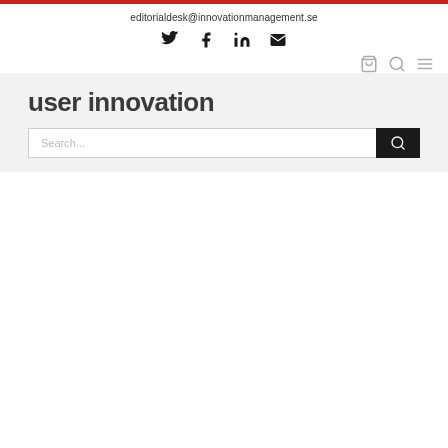editorialdesk@innovationmanagement.se
[Figure (illustration): Social media icons: Twitter, Facebook, LinkedIn, Email]
[Figure (illustration): Navigation icons: shopping cart, search, hamburger menu]
user innovation
Search...